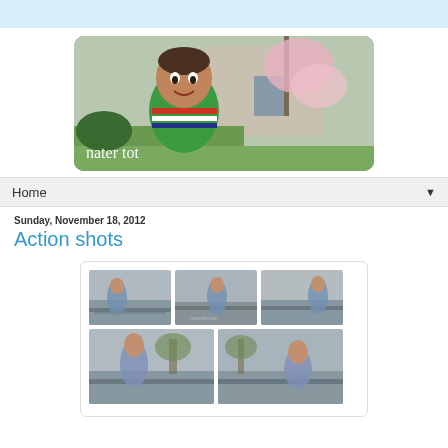[Figure (photo): Blog banner image showing a young toddler boy smiling outdoors with a house and flowering tree in background; text overlay reads 'nater tot']
Home ▼
Sunday, November 18, 2012
Action shots
[Figure (photo): Grid of 5 outdoor action photos of a toddler playing on a driveway/sidewalk area: top row has 3 photos side by side, bottom row has 2 photos side by side]